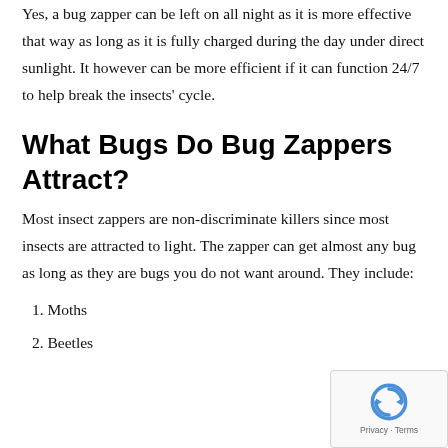Yes, a bug zapper can be left on all night as it is more effective that way as long as it is fully charged during the day under direct sunlight. It however can be more efficient if it can function 24/7 to help break the insects' cycle.
What Bugs Do Bug Zappers Attract?
Most insect zappers are non-discriminate killers since most insects are attracted to light. The zapper can get almost any bug as long as they are bugs you do not want around. They include:
1. Moths
2. Beetles